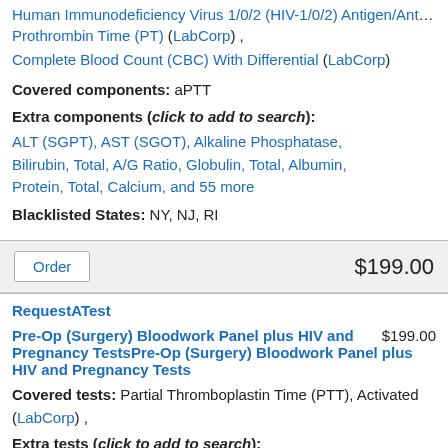Human Immunodeficiency Virus 1/0/2 (HIV-1/0/2) Antigen/Antibody (4...
Prothrombin Time (PT) (LabCorp) ,
Complete Blood Count (CBC) With Differential (LabCorp)
Covered components: aPTT
Extra components (click to add to search):
ALT (SGPT), AST (SGOT), Alkaline Phosphatase, Bilirubin, Total, A/G Ratio, Globulin, Total, Albumin, Protein, Total, Calcium, and 55 more
Blacklisted States: NY, NJ, RI
Order  $199.00
RequestATest
Pre-Op (Surgery) Bloodwork Panel plus HIV and Pregnancy TestsPre-Op (Surgery) Bloodwork Panel plus HIV and Pregnancy Tests  $199.00
Covered tests: Partial Thromboplastin Time (PTT), Activated (LabCorp) ,
Extra tests (click to add to search):
Metabolic Panel (14), Comprehensive (LabCorp) ,
Human Immunodeficiency Virus 1/0/2 (HIV-1/0/2) Antigen/Antibody (4...